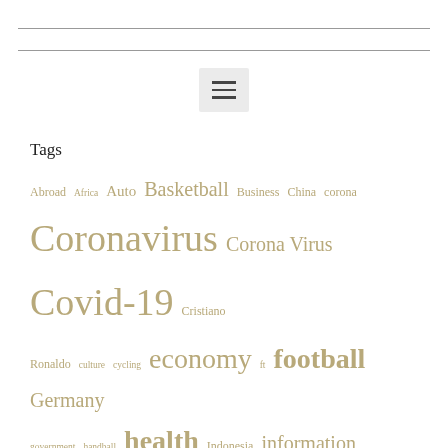[Figure (other): Hamburger menu icon button with three horizontal lines on a light grey background]
Tags
Abroad Africa Auto Basketball Business China corona Coronavirus Corona Virus Covid-19 Cristiano Ronaldo culture cycling economy ft football Germany government handball health Indonesia information international national New News newspaper new York opinion pandemic photo politics premier league report Russia Soccer Southgerman newspaper sport Sports TV Ukraine United States USA video World